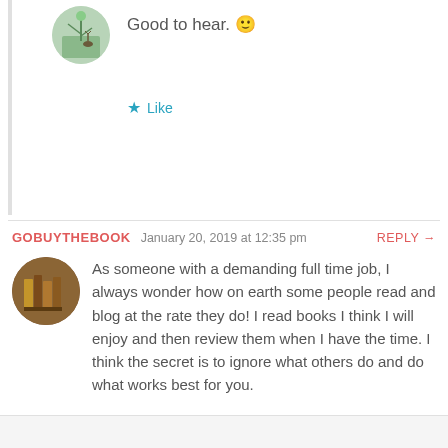Good to hear. 🙂
Like
GOBUYTHEBOOK  January 20, 2019 at 12:35 pm  REPLY →
As someone with a demanding full time job, I always wonder how on earth some people read and blog at the rate they do! I read books I think I will enjoy and then review them when I have the time. I think the secret is to ignore what others do and do what works best for you.
Liked by 1 person